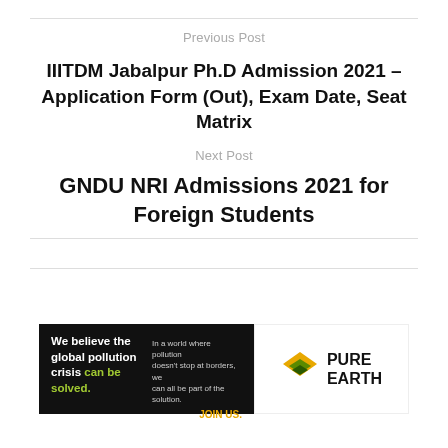Previous Post
IIITDM Jabalpur Ph.D Admission 2021 – Application Form (Out), Exam Date, Seat Matrix
Next Post
GNDU NRI Admissions 2021 for Foreign Students
[Figure (illustration): Pure Earth advertisement banner: black left panel with text 'We believe the global pollution crisis can be solved.' and right white panel with Pure Earth logo and name.]